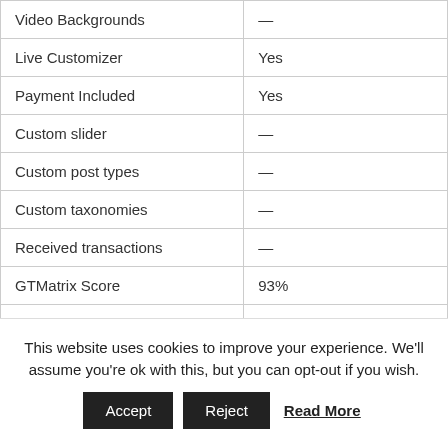| Feature | Value |
| --- | --- |
| Video Backgrounds | — |
| Live Customizer | Yes |
| Payment Included | Yes |
| Custom slider | — |
| Custom post types | — |
| Custom taxonomies | — |
| Received transactions | — |
| GTMatrix Score | 93% |
| Homepage loading |  |
This website uses cookies to improve your experience. We'll assume you're ok with this, but you can opt-out if you wish.